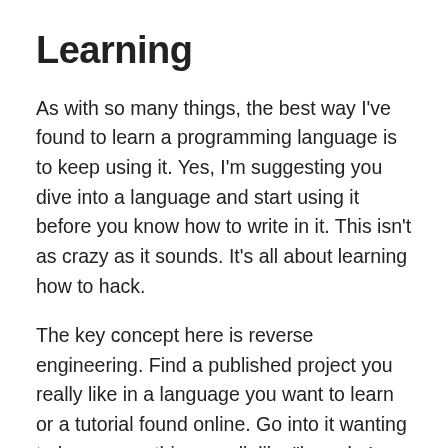Learning
As with so many things, the best way I've found to learn a programming language is to keep using it. Yes, I'm suggesting you dive into a language and start using it before you know how to write in it. This isn't as crazy as it sounds. It's all about learning how to hack.
The key concept here is reverse engineering. Find a published project you really like in a language you want to learn or a tutorial found online. Go into it wanting to learn something small, like "how do I make an element disappear when I click on a button." Use a modern browser like Chrome and Firefox (I like Chrome better) to inspect the underlying code for any given webpage. This part is key: inspectors are your best friend. Grab that source code and slap it into your favorite text editor (you